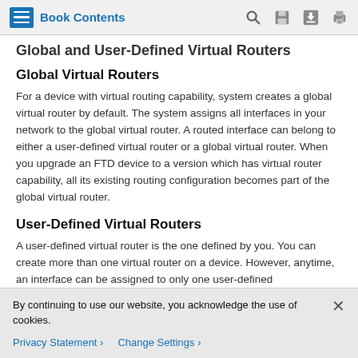Book Contents
Global and User-Defined Virtual Routers
Global Virtual Routers
For a device with virtual routing capability, system creates a global virtual router by default. The system assigns all interfaces in your network to the global virtual router. A routed interface can belong to either a user-defined virtual router or a global virtual router. When you upgrade an FTD device to a version which has virtual router capability, all its existing routing configuration becomes part of the global virtual router.
User-Defined Virtual Routers
A user-defined virtual router is the one defined by you. You can create more than one virtual router on a device. However, anytime, an interface can be assigned to only one user-defined
By continuing to use our website, you acknowledge the use of cookies.
Privacy Statement > Change Settings >